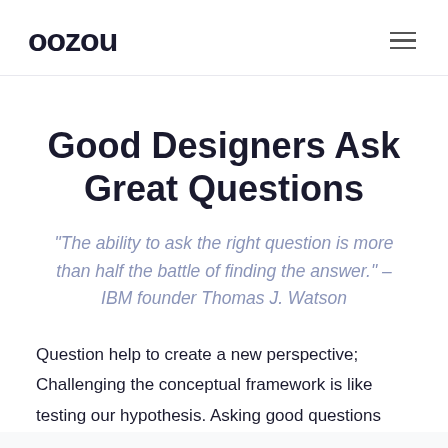oozou
Good Designers Ask Great Questions
“The ability to ask the right question is more than half the battle of finding the answer.” – IBM founder Thomas J. Watson
Question help to create a new perspective; Challenging the conceptual framework is like testing our hypothesis. Asking good questions